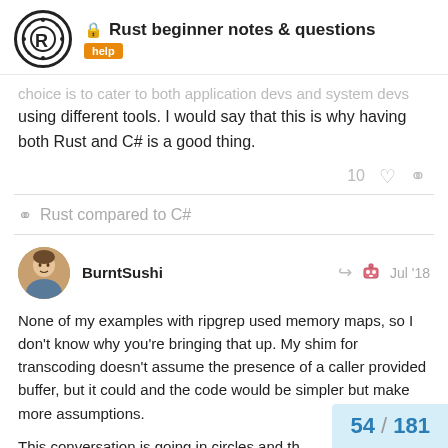Rust beginner notes & questions | help
choice is to cater to both application devs and system devs using different tools. I would say that this is why having both Rust and C# is a good thing.
10 ♡ 🔗
🔗 Rust compared to C#
BurntSushi | Jul '18
None of my examples with ripgrep used memory maps, so I don't know why you're bringing that up. My shim for transcoding doesn't assume the presence of a caller provided buffer, but it could and the code would be simpler but make more assumptions.
This conversation is going in circles and th
54 / 181